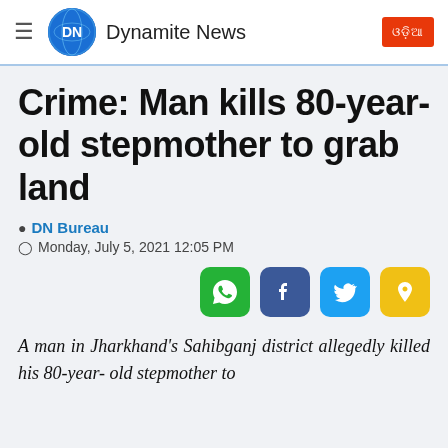Dynamite News
Crime: Man kills 80-year-old stepmother to grab land
DN Bureau
Monday, July 5, 2021 12:05 PM
[Figure (infographic): Social media share icons: WhatsApp (green), Facebook (blue), Twitter (light blue), Share (yellow)]
A man in Jharkhand's Sahibganj district allegedly killed his 80-year- old stepmother to